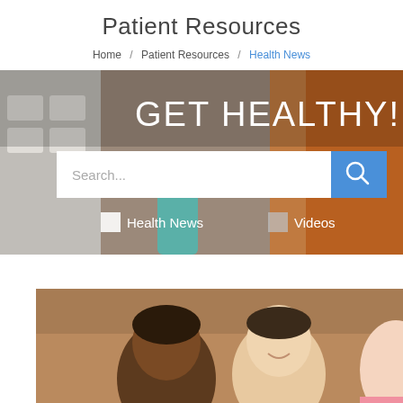Patient Resources
Home / Patient Resources / Health News
[Figure (screenshot): Hero banner with background photo of keyboard and school supplies, large white text reading GET HEALTHY!, a search bar with blue search button, and filter checkboxes for Health News and Videos]
[Figure (photo): Photo of students studying together - a young man and woman leaning over a desk, looking at something together, smiling]